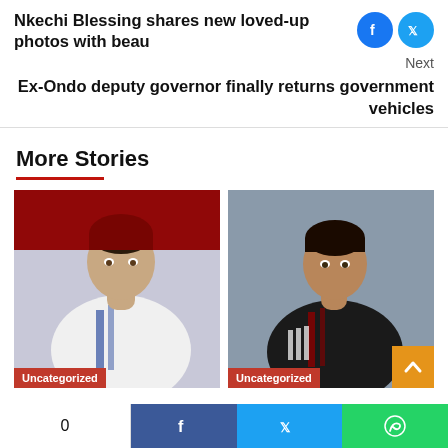Nkechi Blessing shares new loved-up photos with beau
Next
Ex-Ondo deputy governor finally returns government vehicles
More Stories
[Figure (photo): Football player in white Real Madrid kit with blue stripes, looking to the side, red crowd background. Badge: Uncategorized]
[Figure (photo): Football player in black Manchester United training kit, looking forward, grey background. Badge: Uncategorized]
0